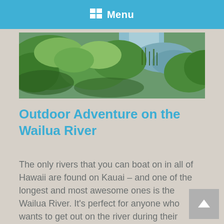Menu
[Figure (photo): Aerial view of the Wailua River with lush green vegetation and calm water winding through tropical landscape on Kauai, Hawaii.]
Outdoor Adventure on the Wailua River
The only rivers that you can boat on in all of Hawaii are found on Kauai – and one of the longest and most awesome ones is the Wailua River. It's perfect for anyone who wants to get out on the river during their Hawaii vacation. The Wailua River is 20 miles of calm and winding [...]